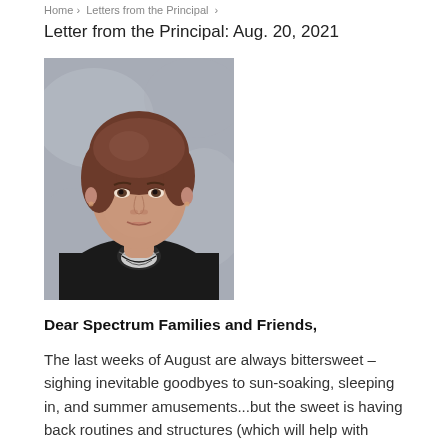Home › Letters from the Principal ›
Letter from the Principal: Aug. 20, 2021
[Figure (photo): Portrait photo of a woman with short brown hair wearing a black cardigan over a white and black patterned top, photographed against a grey mottled background.]
Dear Spectrum Families and Friends,
The last weeks of August are always bittersweet – sighing inevitable goodbyes to sun-soaking, sleeping in, and summer amusements...but the sweet is having back routines and structures (which will help with